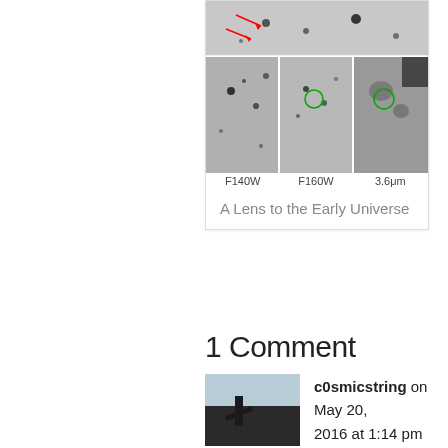[Figure (photo): Astronomical image panels showing galaxy lens observations in filters F140W, F160W, and 3.6µm, with red arrow annotations and green circle markers on small grayscale images arranged in a grid.]
A Lens to the Early Universe
1 Comment
c0smicstring on May 20, 2016 at 1:14 pm